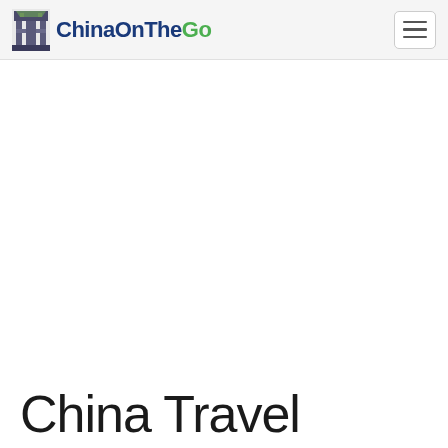ChinaOnTheGo
China Travel Alerts –